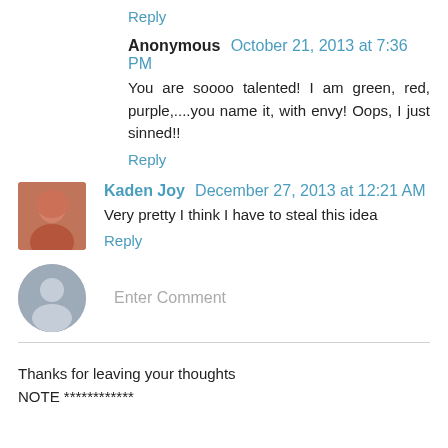Thanks.
Reply
Anonymous  October 21, 2013 at 7:36 PM
You are soooo talented! I am green, red, purple,....you name it, with envy! Oops, I just sinned!!
Reply
Kaden Joy  December 27, 2013 at 12:21 AM
Very pretty I think I have to steal this idea
Reply
Enter Comment
Thanks for leaving your thoughts
NOTE ************